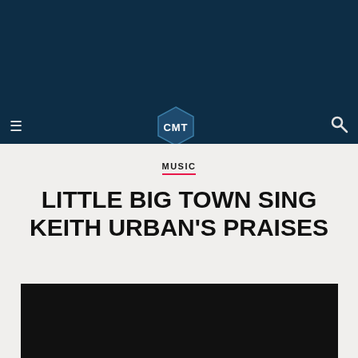[Figure (logo): CMT logo hexagon badge in navy/teal on dark navy navigation bar]
MUSIC
LITTLE BIG TOWN SING KEITH URBAN'S PRAISES
[Figure (photo): Black video thumbnail at bottom of page]